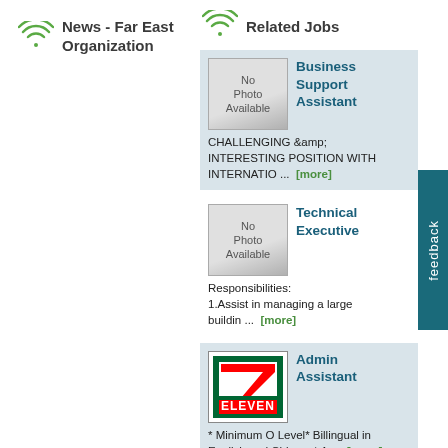News - Far East Organization
Related Jobs
Business Support Assistant
CHALLENGING &amp; INTERESTING POSITION WITH INTERNATIO ... [more]
Technical Executive
Responsibilities: 1.Assist in managing a large buildin ... [more]
Admin Assistant
* Minimum O Level* Billingual in English and Chinese* A ... [more]
Management Trainee
Duties:- Develop